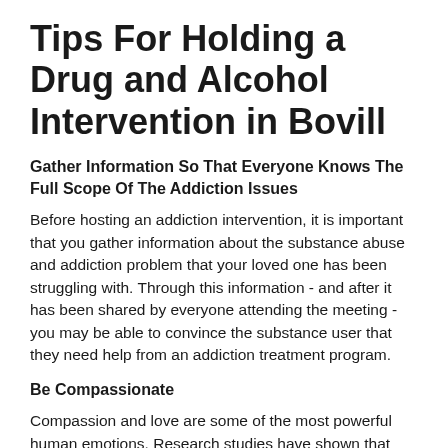Tips For Holding a Drug and Alcohol Intervention in Bovill
Gather Information So That Everyone Knows The Full Scope Of The Addiction Issues
Before hosting an addiction intervention, it is important that you gather information about the substance abuse and addiction problem that your loved one has been struggling with. Through this information - and after it has been shared by everyone attending the meeting - you may be able to convince the substance user that they need help from an addiction treatment program.
Be Compassionate
Compassion and love are some of the most powerful human emotions. Research studies have shown that these emotions can get most people to follow certain courses of action. This is why it is recommended that you try to use